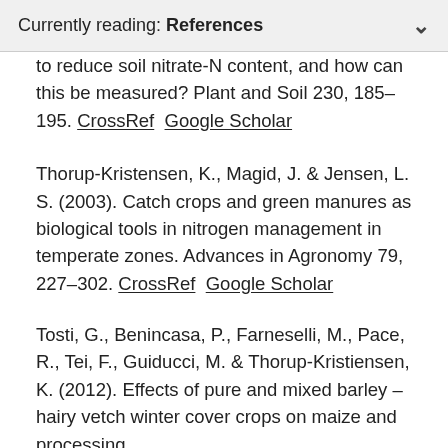Currently reading: References
to reduce soil nitrate-N content, and how can this be measured? Plant and Soil 230, 185–195. CrossRef  Google Scholar
Thorup-Kristensen, K., Magid, J. & Jensen, L. S. (2003). Catch crops and green manures as biological tools in nitrogen management in temperate zones. Advances in Agronomy 79, 227–302. CrossRef  Google Scholar
Tosti, G., Benincasa, P., Farneselli, M., Pace, R., Tei, F., Guiducci, M. & Thorup-Kristiensen, K. (2012). Effects of pure and mixed barley – hairy vetch winter cover crops on maize and processing